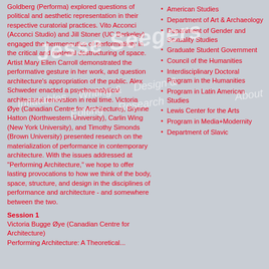Goldberg (Performa) explored questions of political and aesthetic representation in their respective curatorial practices. Vito Acconci (Acconci Studio) and Jill Stoner (UC Berkeley) engaged the hermeneutics of performativity in the critical and material destructuring of space. Artist Mary Ellen Carroll demonstrated the performative gesture in her work, and question architecture's appropriation of the public. Alex Schweder enacted a psychoanalytical architectural renovation in real time. Victoria Øye (Canadian Centre for Architecture), Brynne Hatton (Northwestern University), Carlin Wing (New York University), and Timothy Simonds (Brown University) presented research on the materialization of performance in contemporary architecture. With the issues addressed at "Performing Architecture," we hope to offer lasting provocations to how we think of the body, space, structure, and design in the disciplines of performance and architecture - and somewhere between the two.
Session 1
Victoria Bugge Øye (Canadian Centre for Architecture)
Performing Architecture: A Theoretical...
American Studies
Department of Art & Archaeology
Department of Gender and Sexuality Studies
Graduate Student Government
Council of the Humanities
Interdisciplinary Doctoral Program in the Humanities
Program in Latin American Studies
Lewis Center for the Arts
Program in Media+Modernity
Department of Slavic